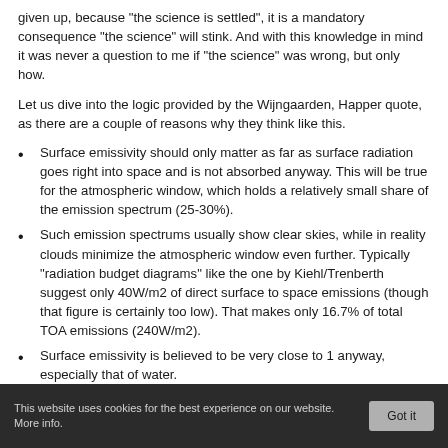given up, because "the science is settled", it is a mandatory consequence "the science" will stink. And with this knowledge in mind it was never a question to me if "the science" was wrong, but only how.
Let us dive into the logic provided by the Wijngaarden, Happer quote, as there are a couple of reasons why they think like this.
Surface emissivity should only matter as far as surface radiation goes right into space and is not absorbed anyway. This will be true for the atmospheric window, which holds a relatively small share of the emission spectrum (25-30%).
Such emission spectrums usually show clear skies, while in reality clouds minimize the atmospheric window even further. Typically “radiation budget diagrams” like the one by Kiehl/Trenberth suggest only 40W/m2 of direct surface to space emissions (though that figure is certainly too low). That makes only 16.7% of total TOA emissions (240W/m2).
Surface emissivity is believed to be very close to 1 anyway, especially that of water.
Combined these views mean any deviation from 1, like
This website uses cookies for the best experience on our website. More info.